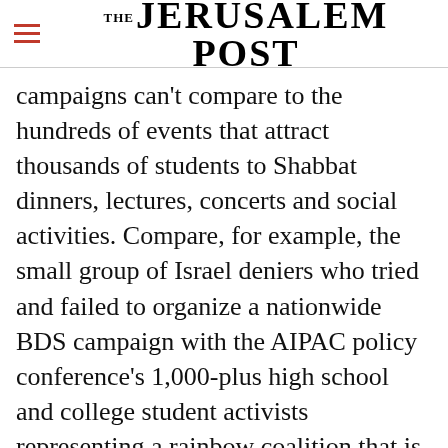THE JERUSALEM POST
campaigns can't compare to the hundreds of events that attract thousands of students to Shabbat dinners, lectures, concerts and social activities. Compare, for example, the small group of Israel deniers who tried and failed to organize a nationwide BDS campaign with the AIPAC policy conference's 1,000-plus high school and college student activists representing a rainbow coalition that is working to strengthen U.S.-Israel ties and build greater understanding of Israel on their
Advertisement